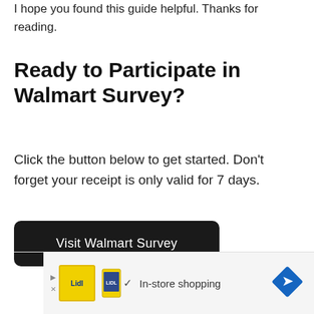I hope you found this guide helpful. Thanks for reading.
Ready to Participate in Walmart Survey?
Click the button below to get started. Don't forget your receipt is only valid for 7 days.
[Figure (other): A black rounded-rectangle button labeled 'Visit Walmart Survey']
[Figure (other): Advertisement banner with Lidl logo, checkmark, 'In-store shopping' text, and a blue diamond navigation arrow icon]